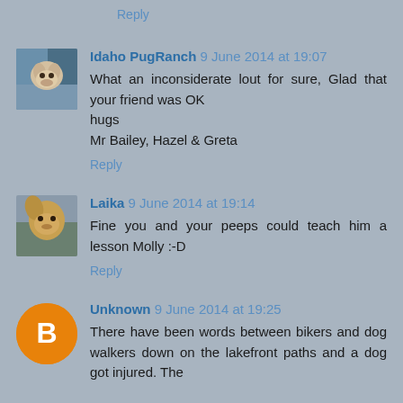Reply
Idaho PugRanch 9 June 2014 at 19:07
What an inconsiderate lout for sure, Glad that your friend was OK
hugs
Mr Bailey, Hazel & Greta
Reply
Laika 9 June 2014 at 19:14
Fine you and your peeps could teach him a lesson Molly :-D
Reply
Unknown 9 June 2014 at 19:25
There have been words between bikers and dog walkers down on the lakefront paths and a dog got injured. The